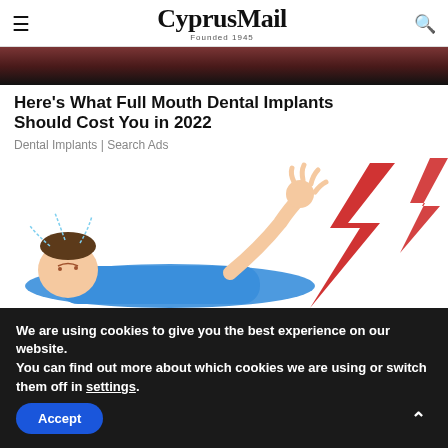CyprusMail | Founded 1945
[Figure (photo): Dark reddish-brown top strip image, partial view of a face or head]
Here's What Full Mouth Dental Implants Should Cost You in 2022
Dental Implants | Search Ads
[Figure (illustration): Illustration of a person lying down shocked, with a large red lightning bolt in the background]
We are using cookies to give you the best experience on our website.
You can find out more about which cookies we are using or switch them off in settings.
Accept